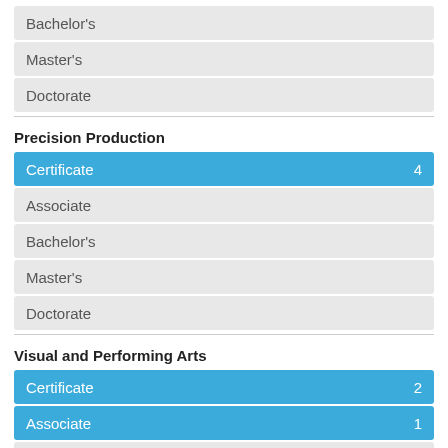Bachelor's
Master's
Doctorate
Precision Production
Certificate 4
Associate
Bachelor's
Master's
Doctorate
Visual and Performing Arts
Certificate 2
Associate 1
Bachelor's
Master's